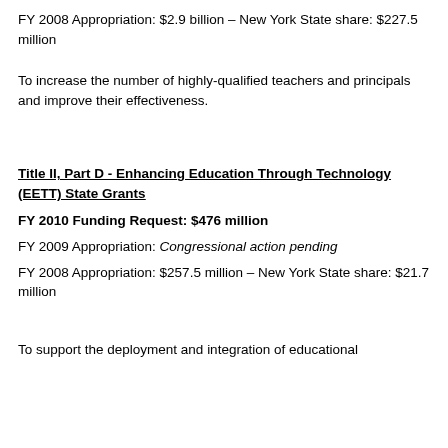FY 2008 Appropriation: $2.9 billion – New York State share: $227.5 million
To increase the number of highly-qualified teachers and principals and improve their effectiveness.
Title II, Part D - Enhancing Education Through Technology (EETT) State Grants
FY 2010 Funding Request: $476 million
FY 2009 Appropriation: Congressional action pending
FY 2008 Appropriation: $257.5 million – New York State share: $21.7 million
To support the deployment and integration of educational